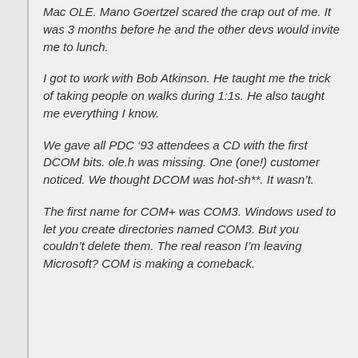Mac OLE. Mano Goertzel scared the crap out of me. It was 3 months before he and the other devs would invite me to lunch.
I got to work with Bob Atkinson. He taught me the trick of taking people on walks during 1:1s. He also taught me everything I know.
We gave all PDC ’93 attendees a CD with the first DCOM bits. ole.h was missing. One (one!) customer noticed. We thought DCOM was hot-sh**. It wasn’t.
The first name for COM+ was COM3. Windows used to let you create directories named COM3. But you couldn’t delete them. The real reason I’m leaving Microsoft? COM is making a comeback.